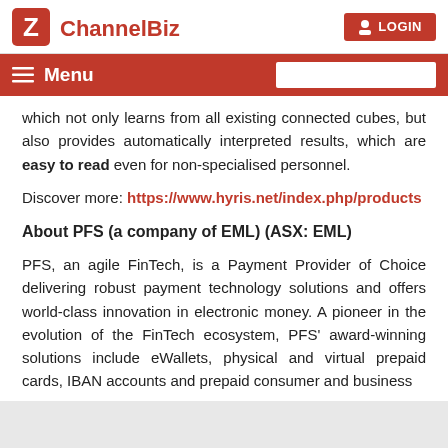ChannelBiz | LOGIN
Menu
which not only learns from all existing connected cubes, but also provides automatically interpreted results, which are easy to read even for non-specialised personnel.
Discover more: https://www.hyris.net/index.php/products
About PFS (a company of EML) (ASX: EML)
PFS, an agile FinTech, is a Payment Provider of Choice delivering robust payment technology solutions and offers world-class innovation in electronic money. A pioneer in the evolution of the FinTech ecosystem, PFS' award-winning solutions include eWallets, physical and virtual prepaid cards, IBAN accounts and prepaid consumer and business